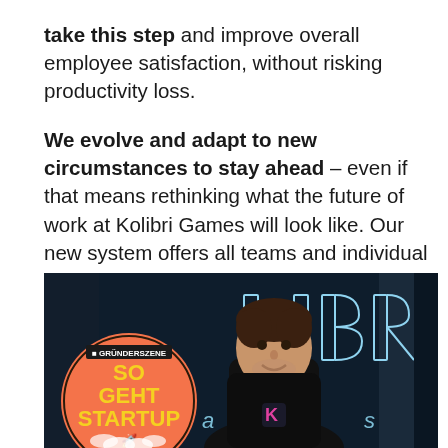take this step and improve overall employee satisfaction, without risking productivity loss.

We evolve and adapt to new circumstances to stay ahead – even if that means rethinking what the future of work at Kolibri Games will look like. Our new system offers all teams and individual members a significant degree of flexibility and the freedom to decide how and where they want to work.
[Figure (photo): A man wearing a black hoodie with a 'K' logo stands in front of a dark background featuring large illuminated letters spelling 'KOLIBRI'. In the bottom-left corner is a circular badge/logo reading 'GRÜNDERSZENE SO GEHT STARTUP' with a rocket illustration.]